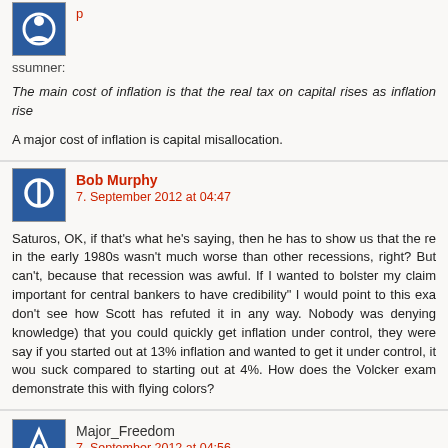[Figure (illustration): Blue avatar icon for ssumner user, partially visible at top]
ssumner:
The main cost of inflation is that the real tax on capital rises as inflation rise
A major cost of inflation is capital misallocation.
[Figure (illustration): Blue avatar icon for Bob Murphy]
Bob Murphy
7. September 2012 at 04:47
Saturos, OK, if that's what he's saying, then he has to show us that the re in the early 1980s wasn't much worse than other recessions, right? But can't, because that recession was awful. If I wanted to bolster my claim important for central bankers to have credibility" I would point to this exa don't see how Scott has refuted it in any way. Nobody was denying knowledge) that you could quickly get inflation under control, they were say if you started out at 13% inflation and wanted to get it under control, it wou suck compared to starting out at 4%. How does the Volcker exam demonstrate this with flying colors?
[Figure (illustration): Blue avatar icon for Major_Freedom]
Major_Freedom
7. September 2012 at 04:56